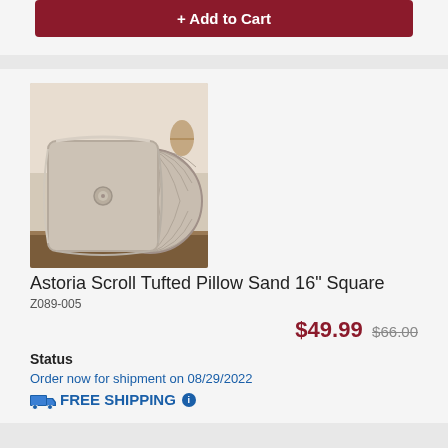+ Add to Cart
[Figure (photo): Two decorative pillows on a wooden shelf: a square sand-colored tufted pillow with a button center, and a round ribbed/pleated pillow behind it.]
Astoria Scroll Tufted Pillow Sand 16" Square
Z089-005
$49.99 $66.00
Status
Order now for shipment on 08/29/2022
FREE SHIPPING